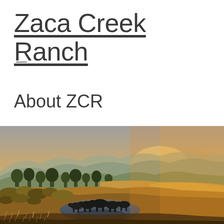Zaca Creek Ranch
≡
About ZCR
[Figure (photo): Golden hour landscape photo of Zaca Creek Ranch showing cattle drinking from a pond or water hole, surrounded by rolling golden hills, shrubs, and trees with mountains in the background bathed in warm sunset light.]